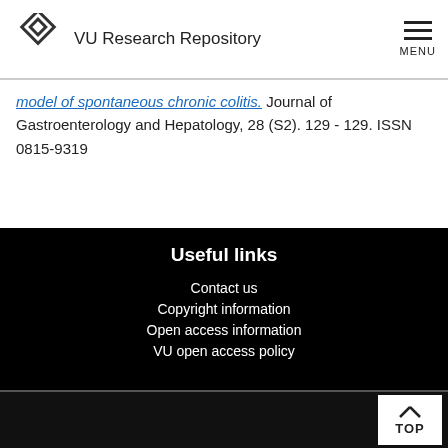VU Research Repository
model of spontaneous chronic colitis. Journal of Gastroenterology and Hepatology, 28 (S2). 129 - 129. ISSN 0815-9319
Useful links
Contact us
Copyright information
Open access information
VU open access policy
TOP